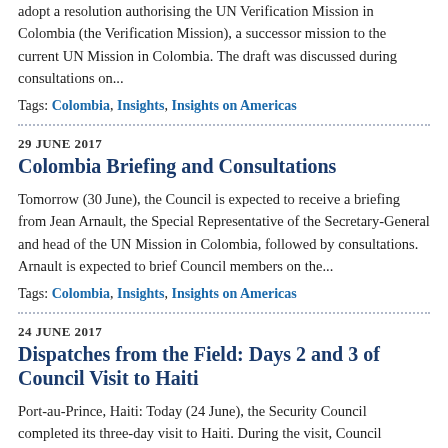adopt a resolution authorising the UN Verification Mission in Colombia (the Verification Mission), a successor mission to the current UN Mission in Colombia. The draft was discussed during consultations on...
Tags: Colombia, Insights, Insights on Americas
29 JUNE 2017
Colombia Briefing and Consultations
Tomorrow (30 June), the Council is expected to receive a briefing from Jean Arnault, the Special Representative of the Secretary-General and head of the UN Mission in Colombia, followed by consultations. Arnault is expected to brief Council members on the...
Tags: Colombia, Insights, Insights on Americas
24 JUNE 2017
Dispatches from the Field: Days 2 and 3 of Council Visit to Haiti
Port-au-Prince, Haiti: Today (24 June), the Security Council completed its three-day visit to Haiti. During the visit, Council